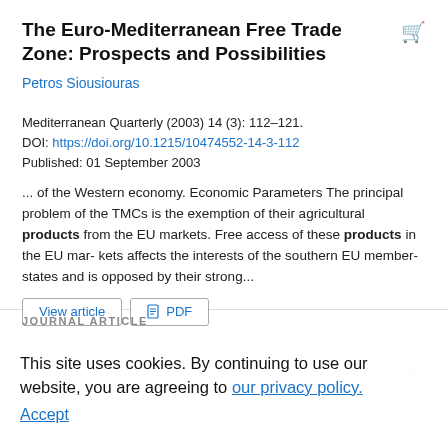The Euro-Mediterranean Free Trade Zone: Prospects and Possibilities
Petros Siousiouras
Mediterranean Quarterly (2003) 14 (3): 112–121.
DOI: https://doi.org/10.1215/10474552-14-3-112
Published: 01 September 2003
... of the Western economy. Economic Parameters The principal problem of the TMCs is the exemption of their agricultural products from the EU markets. Free access of these products in the EU mar- kets affects the interests of the southern EU member-states and is opposed by their strong...
View article   PDF
JOURNAL ARTICLE
This site uses cookies. By continuing to use our website, you are agreeing to our privacy policy. Accept